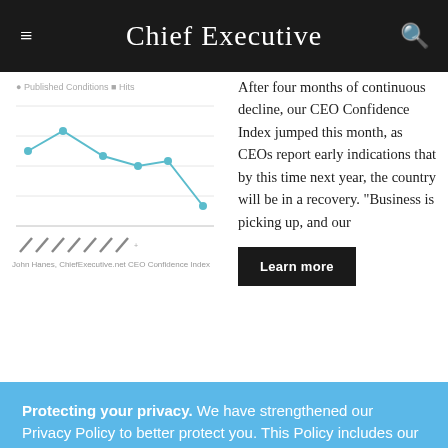Chief Executive
[Figure (line-chart): CEO Confidence Index line chart showing trend over several months with a decline followed by an uptick]
John Hanes, ChiefExecutive.net CEO Confidence Index
After four months of continuous decline, our CEO Confidence Index jumped this month, as CEOs report early indications that by this time next year, the country will be in a recovery. "Business is picking up, and our
Learn more
Protecting your privacy. We have strengthened our Privacy Policy to better protect you. This Policy includes our use of cookies to give you the best online experience and provide functionality essential to our services. By clicking 'Close' or by continuing to use our website, you are consenting to our
which can be hand...
Accept and Close ✕
Your browser settings do not allow cross-site tracking for advertising. Click on this page to allow AdRoll to use cross-site tracking to tailor ads to you. Learn more or opt out of this AdRoll tracking by clicking here. This message only appears once.